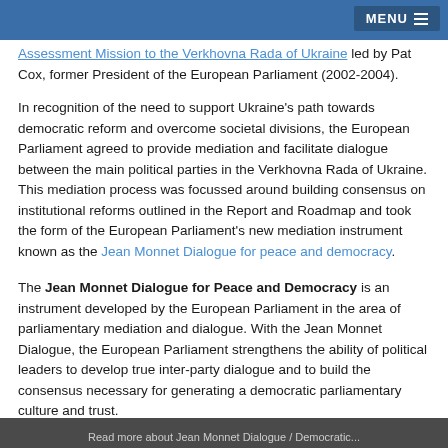MENU
Assessment Mission to the Verkhovna Rada of Ukraine led by Pat Cox, former President of the European Parliament (2002-2004).
In recognition of the need to support Ukraine's path towards democratic reform and overcome societal divisions, the European Parliament agreed to provide mediation and facilitate dialogue between the main political parties in the Verkhovna Rada of Ukraine. This mediation process was focussed around building consensus on institutional reforms outlined in the Report and Roadmap and took the form of the European Parliament's new mediation instrument known as the Jean Monnet Dialogue for peace and democracy.
The Jean Monnet Dialogue for Peace and Democracy is an instrument developed by the European Parliament in the area of parliamentary mediation and dialogue. With the Jean Monnet Dialogue, the European Parliament strengthens the ability of political leaders to develop true inter-party dialogue and to build the consensus necessary for generating a democratic parliamentary culture and trust.
Read more about Jean Monnet Dialogue / Democratic...